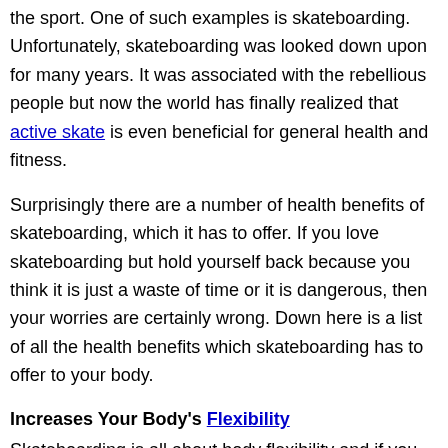the sport. One of such examples is skateboarding. Unfortunately, skateboarding was looked down upon for many years. It was associated with the rebellious people but now the world has finally realized that active skate is even beneficial for general health and fitness.
Surprisingly there are a number of health benefits of skateboarding, which it has to offer. If you love skateboarding but hold yourself back because you think it is just a waste of time or it is dangerous, then your worries are certainly wrong. Down here is a list of all the health benefits which skateboarding has to offer to your body.
Increases Your Body's Flexibility
Skateboarding is all about body flexibility and if you have a flexible body, it means that the question, which you were worried about that whether skateboarding is good for health, has been answered. Body flexibility makes your body able to do any kind of workout, it also makes your